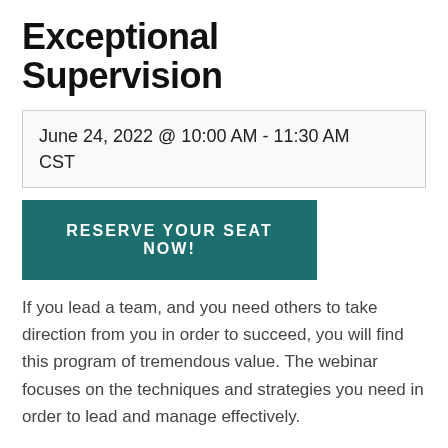Exceptional Supervision
June 24, 2022 @ 10:00 AM - 11:30 AM CST
RESERVE YOUR SEAT NOW!
If you lead a team, and you need others to take direction from you in order to succeed, you will find this program of tremendous value. The webinar focuses on the techniques and strategies you need in order to lead and manage effectively.
This program will ramp up your leadership skills and address critical supervisory issues necessary to becoming an excellent team leader. If you are ready to take your commitment and skill set to the